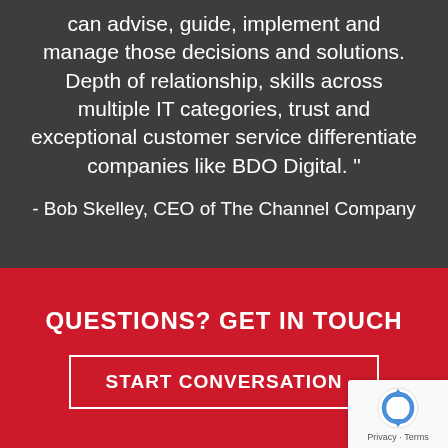can advise, guide, implement and manage those decisions and solutions. Depth of relationship, skills across multiple IT categories, trust and exceptional customer service differentiate companies like BDO Digital. "
- Bob Skelley, CEO of The Channel Company
QUESTIONS? GET IN TOUCH
START CONVERSATION
[Figure (logo): reCAPTCHA badge with Privacy and Terms labels]